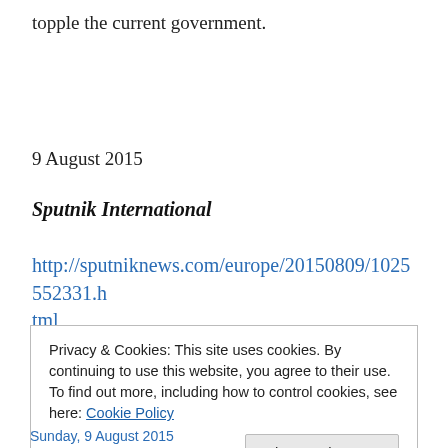topple the current government.
9 August 2015
Sputnik International
http://sputniknews.com/europe/20150809/1025552331.html
Privacy & Cookies: This site uses cookies. By continuing to use this website, you agree to their use.
To find out more, including how to control cookies, see here: Cookie Policy
Close and accept
Sunday, 9 August 2015